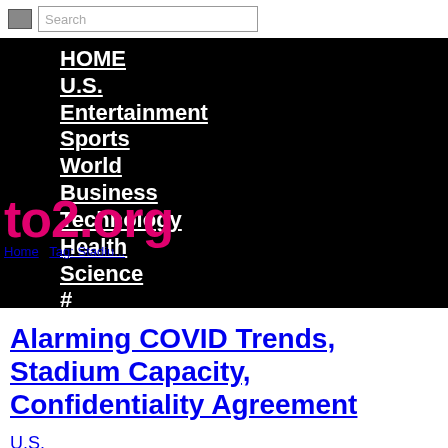[Figure (screenshot): Search bar with a small button and input field showing placeholder text 'Search']
[Figure (screenshot): Black navigation menu overlay with white bold underlined links: HOME, U.S., Entertainment, Sports, World, Business, Technology, Health, Science, #, Contact Us. Pink/magenta logo text 'to2.org' overlaid on lower portion. Breadcrumb 'Home / Tag: Stadiu...' visible.]
Alarming COVID Trends, Stadium Capacity, Confidentiality Agreement
U.S.